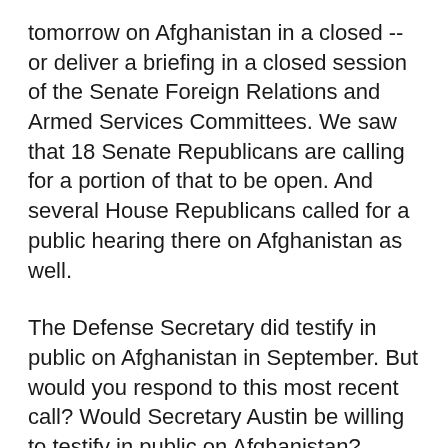tomorrow on Afghanistan in a closed -- or deliver a briefing in a closed session of the Senate Foreign Relations and Armed Services Committees. We saw that 18 Senate Republicans are calling for a portion of that to be open. And several House Republicans called for a public hearing there on Afghanistan as well.
The Defense Secretary did testify in public on Afghanistan in September. But would you respond to this most recent call? Would Secretary Austin be willing to testify in public on Afghanistan? Thank you.
MR. KIRBY: He, as you as you noted, Joe, he has. And of course, if he be asked to testify again, is...